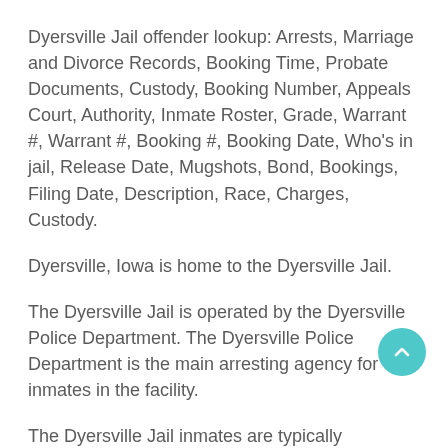Dyersville Jail offender lookup: Arrests, Marriage and Divorce Records, Booking Time, Probate Documents, Custody, Booking Number, Appeals Court, Authority, Inmate Roster, Grade, Warrant #, Warrant #, Booking #, Booking Date, Who's in jail, Release Date, Mugshots, Bond, Bookings, Filing Date, Description, Race, Charges, Custody.
Dyersville, Iowa is home to the Dyersville Jail.
The Dyersville Jail is operated by the Dyersville Police Department. The Dyersville Police Department is the main arresting agency for inmates in the facility.
The Dyersville Jail inmates are typically residents of the city or the inmates committed a crime within the city limits.
Majority of the inmates who are being held in the Dyersville